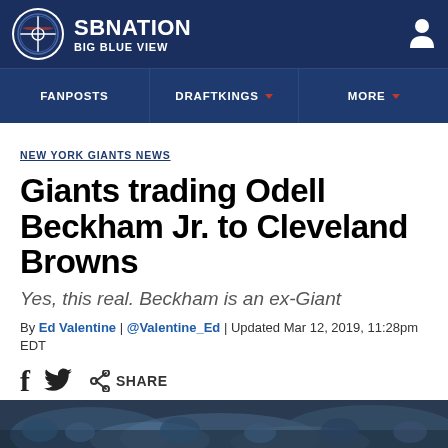SBNation BIG BLUE VIEW
NEW YORK GIANTS NEWS
Giants trading Odell Beckham Jr. to Cleveland Browns
Yes, this real. Beckham is an ex-Giant
By Ed Valentine | @Valentine_Ed | Updated Mar 12, 2019, 11:28pm EDT
SHARE